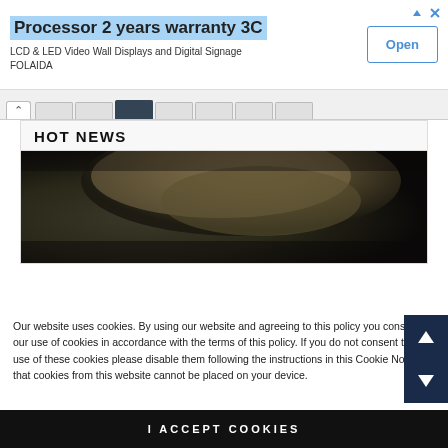[Figure (screenshot): Advertisement banner for FOLAIDA showing 'Processor 2 years warranty 3C', LCD & LED Video Wall Displays and Digital Signage, with an Open button]
[Figure (screenshot): Navigation tabs area with up arrow and row of tabs, one dark active tab]
HOT NEWS
[Figure (photo): Close-up photo of a person's head/hair from behind, dark and blurry background]
Our website uses cookies. By using our website and agreeing to this policy you consent to our use of cookies in accordance with the terms of this policy. If you do not consent to the use of these cookies please disable them following the instructions in this Cookie Notice so that cookies from this website cannot be placed on your device.
I ACCEPT COOKIES